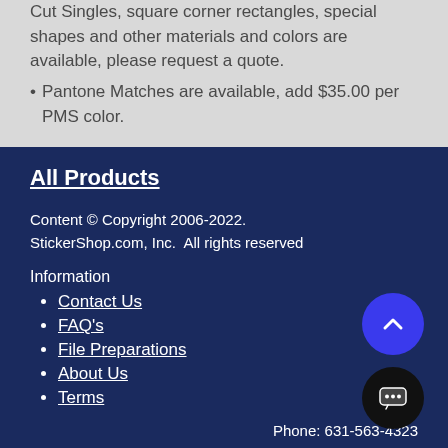Cut Singles, square corner rectangles, special shapes and other materials and colors are available, please request a quote.
Pantone Matches are available, add $35.00 per PMS color.
All Products
Content © Copyright 2006-2022. StickerShop.com, Inc.  All rights reserved
Information
Contact Us
FAQ's
File Preparations
About Us
Terms
Phone: 631-563-4323